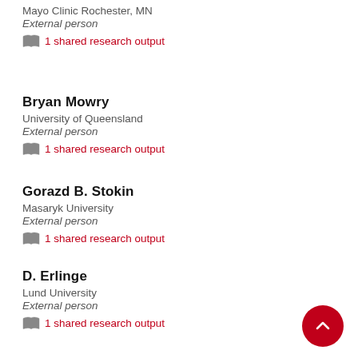Mayo Clinic Rochester, MN
External person
1 shared research output
Bryan Mowry
University of Queensland
External person
1 shared research output
Gorazd B. Stokin
Masaryk University
External person
1 shared research output
D. Erlinge
Lund University
External person
1 shared research output